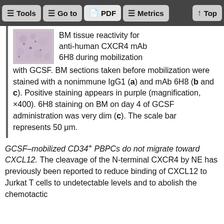Tools  Go to  PDF  Metrics  Top
[Figure (photo): Microscopy image of bone marrow section stained in purple, magnification ×400]
BM tissue reactivity for anti-human CXCR4 mAb 6H8 during mobilization with GCSF. BM sections taken before mobilization were stained with a nonimmune IgG1 (a) and mAb 6H8 (b and c). Positive staining appears in purple (magnification, ×400). 6H8 staining on BM on day 4 of GCSF administration was very dim (c). The scale bar represents 50 μm.
GCSF–mobilized CD34+ PBPCs do not migrate toward CXCL12.
The cleavage of the N-terminal CXCR4 by NE has previously been reported to reduce binding of CXCL12 to Jurkat T cells to undetectable levels and to abolish the chemotactic